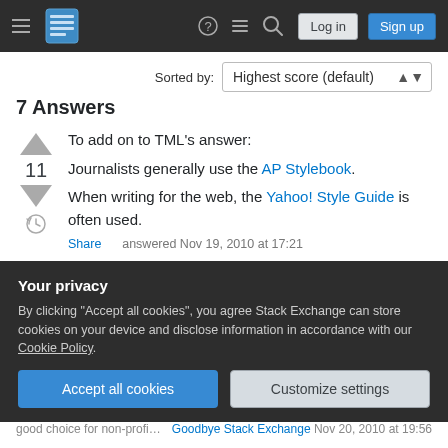Stack Exchange navigation bar with hamburger menu, logo, help, chat, search icons, Log in and Sign up buttons
Sorted by:
7 Answers
To add on to TML's answer:
Journalists generally use the AP Stylebook.
When writing for the web, the Yahoo! Style Guide is often used.
Share      answered Nov 19, 2010 at 17:21
Your privacy
By clicking "Accept all cookies", you agree Stack Exchange can store cookies on your device and disclose information in accordance with our Cookie Policy.
Accept all cookies    Customize settings
good choice for non-profit organizations.
Goodbye Stack Exchange    Nov 20, 2010 at 19:56